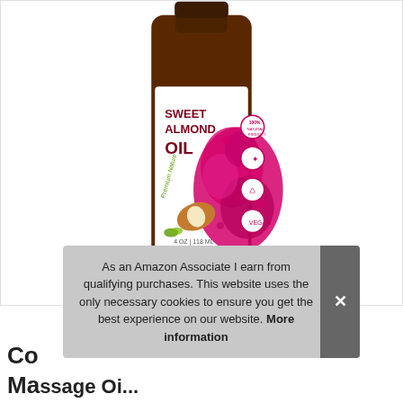[Figure (photo): A dark amber glass bottle of Premium Nature Sweet Almond Oil, 4 OZ / 118 ML, with a white label featuring pink paint splash, almond nut image, and certification badges on the right side]
As an Amazon Associate I earn from qualifying purchases. This website uses the only necessary cookies to ensure you get the best experience on our website. More information
Cold Pressed Sweet Almond Oil for ESSENTIAL Massage Oil...